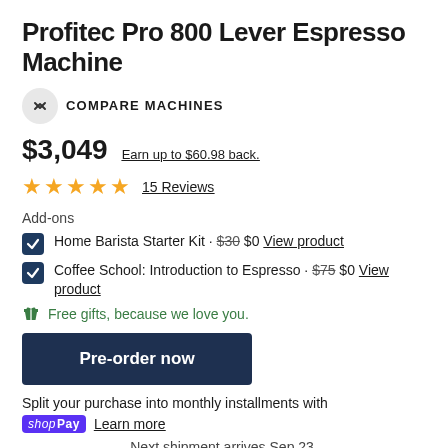Profitec Pro 800 Lever Espresso Machine
COMPARE MACHINES
$3,049   Earn up to $60.98 back.
★★★★★  15 Reviews
Add-ons
Home Barista Starter Kit · $30 $0 View product
Coffee School: Introduction to Espresso · $75 $0 View product
Free gifts, because we love you.
Pre-order now
Split your purchase into monthly installments with
shop Pay  Learn more
Next shipment arrives Sep 23,